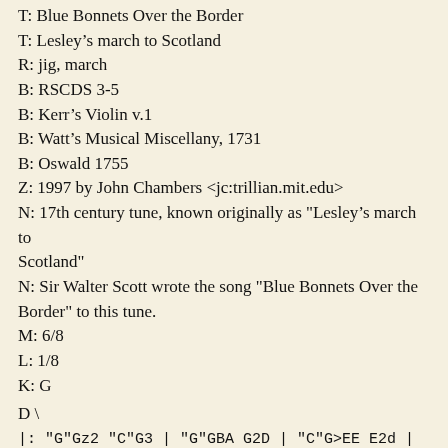T: Blue Bonnets Over the Border
T: Lesley’s march to Scotland
R: jig, march
B: RSCDS 3-5
B: Kerr’s Violin v.1
B: Watt’s Musical Miscellany, 1731
B: Oswald 1755
Z: 1997 by John Chambers <jc:trillian.mit.edu>
N: 17th century tune, known originally as "Lesley’s march to Scotland"
N: Sir Walter Scott wrote the song "Blue Bonnets Over the Border" to this tune.
M: 6/8
L: 1/8
K: G
D \
|: "G"Gz2 "C"G3 | "G"GBA G2D | "C"G>EE E2d | "Em"edB "D7"A>BA || "G"Gz2 "C"G3 | "G"GBA G2D |
| "C"G>EE "G"D3D | "Em"e EGB "D7"A>BC | "G"G3 :|D3 |